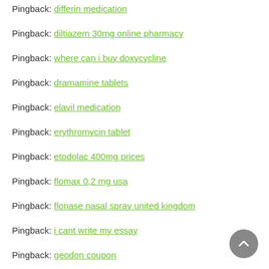Pingback: differin medication
Pingback: diltiazem 30mg online pharmacy
Pingback: where can i buy doxycycline
Pingback: dramamine tablets
Pingback: elavil medication
Pingback: erythromycin tablet
Pingback: etodolac 400mg prices
Pingback: flomax 0,2 mg usa
Pingback: flonase nasal spray united kingdom
Pingback: i cant write my essay
Pingback: geodon coupon
Pingback: how to buy hyzaar 12,5mg